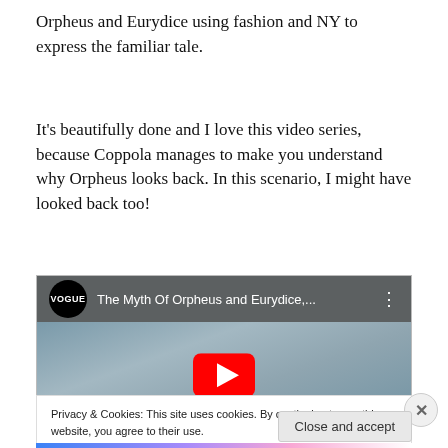Orpheus and Eurydice using fashion and NY to express the familiar tale.
It’s beautifully done and I love this video series, because Coppola manages to make you understand why Orpheus looks back. In this scenario, I might have looked back too!
[Figure (screenshot): YouTube video embed thumbnail showing 'The Myth Of Orpheus and Eurydice,...' from Vogue channel, with a play button overlay on a muted blue-grey background image of a person with long hair.]
Privacy & Cookies: This site uses cookies. By continuing to use this website, you agree to their use.
To find out more, including how to control cookies, see here: Cookie Policy
Close and accept